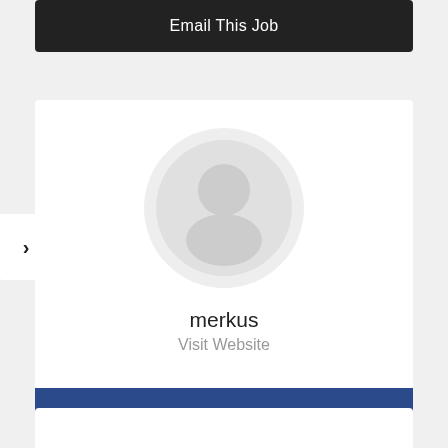Email This Job
[Figure (illustration): Default user avatar placeholder — a circle with a person silhouette icon (head circle and shoulders arc) in light gray]
merkus
Visit Website
View Profile